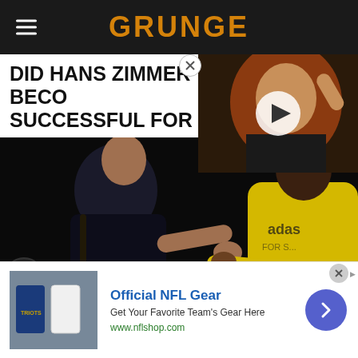GRUNGE
DID HANS ZIMMER BECOME TOO SUCCESSFUL FOR HIS O...
[Figure (photo): Hans Zimmer on stage shaking hands with a performer wearing a yellow Adidas hoodie, concert setting, dark background. Photo credit: Frazer Harrison/Getty Images]
[Figure (photo): Thumbnail video overlay: woman with curly red/auburn hair with a play button overlay]
Official NFL Gear
Get Your Favorite Team's Gear Here
www.nflshop.com